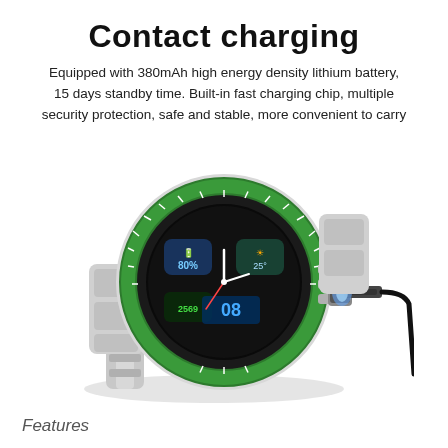Contact charging
Equipped with 380mAh high energy density lithium battery, 15 days standby time. Built-in fast charging chip, multiple security protection, safe and stable, more convenient to carry
[Figure (photo): A silver smartwatch with a green bezel displaying a digital watch face showing 80% battery, 2569 steps, weather, and time, with a charging cable connected to the side via contact charging pins with a blue glow.]
Features